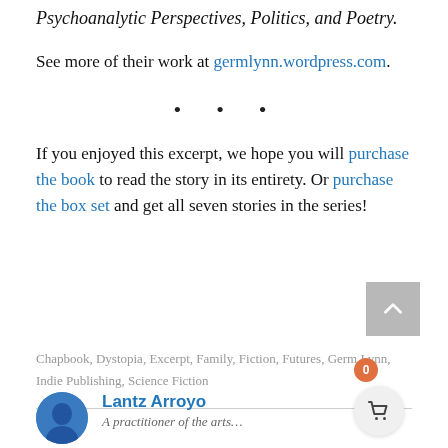Psychoanalytic Perspectives, Politics, and Poetry.
See more of their work at germlynn.wordpress.com.
• • •
If you enjoyed this excerpt, we hope you will purchase the book to read the story in its entirety. Or purchase the box set and get all seven stories in the series!
Chapbook, Dystopia, Excerpt, Family, Fiction, Futures, Germ Lynn, Indie Publishing, Science Fiction
Lantz Arroyo